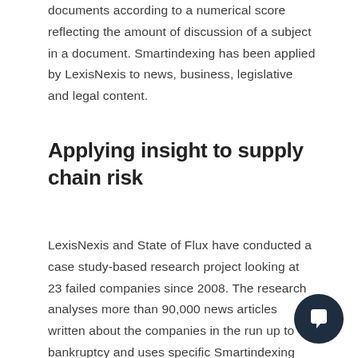documents according to a numerical score reflecting the amount of discussion of a subject in a document. Smartindexing has been applied by LexisNexis to news, business, legislative and legal content.
Applying insight to supply chain risk
LexisNexis and State of Flux have conducted a case study-based research project looking at 23 failed companies since 2008. The research analyses more than 90,000 news articles written about the companies in the run up to bankruptcy and uses specific Smartindexing terms to identify trends in companies that are at